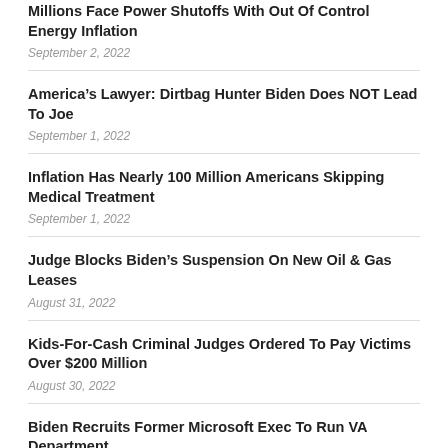Millions Face Power Shutoffs With Out Of Control Energy Inflation
September 2, 2022
America’s Lawyer: Dirtbag Hunter Biden Does NOT Lead To Joe
September 1, 2022
Inflation Has Nearly 100 Million Americans Skipping Medical Treatment
September 1, 2022
Judge Blocks Biden’s Suspension On New Oil & Gas Leases
August 31, 2022
Kids-For-Cash Criminal Judges Ordered To Pay Victims Over $200 Million
August 30, 2022
Biden Recruits Former Microsoft Exec To Run VA Department